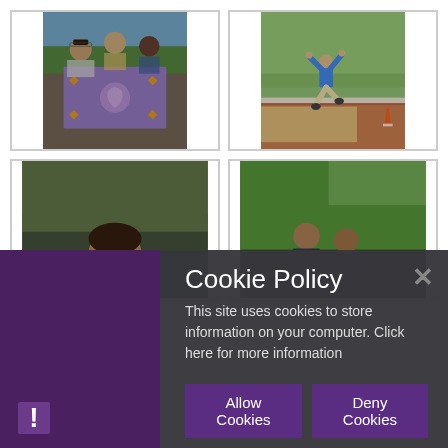[Figure (photo): Three women holding a purple flag with a gold emblem, outdoors at a sports event]
[Figure (photo): Athlete in blue shirt jumping on a running track with a traffic cone visible]
[Figure (photo): Partial view of a person smiling outdoors]
[Figure (photo): Partial view of people outdoors with green trees in background]
Cookie Policy
This site uses cookies to store information on your computer. Click here for more information
Allow Cookies
Deny Cookies